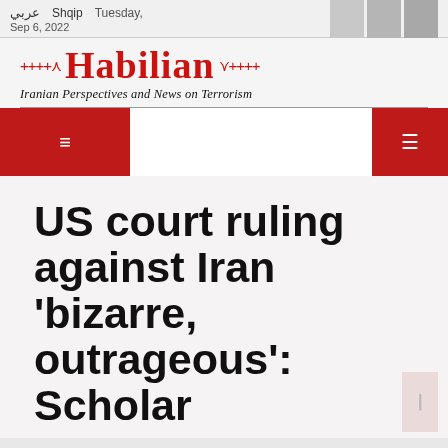عربي  Shqip  Tuesday, Sep 6, 2022
Habilian — Iranian Perspectives and News on Terrorism
US court ruling against Iran 'bizarre, outrageous': Scholar